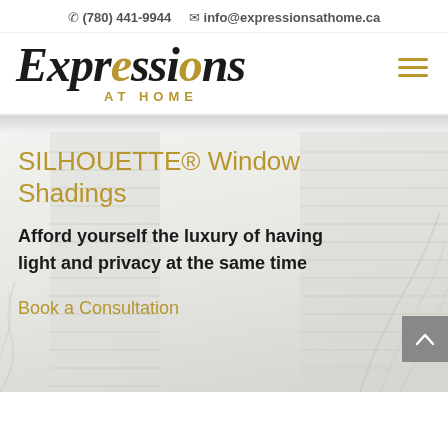(780) 441-9944  info@expressionsathome.ca
[Figure (logo): Expressions AT HOME logo with cursive black Expressions text and gold AT HOME subtitle]
SILHOUETTE® Window Shadings
Afford yourself the luxury of having light and privacy at the same time
Book a Consultation